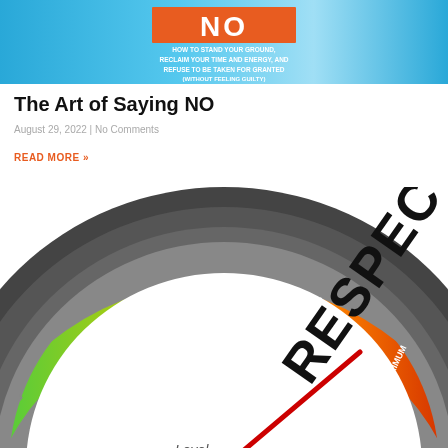[Figure (illustration): Book cover image showing 'NO' in large white text on orange background with subtitle 'HOW TO STAND YOUR GROUND, RECLAIM YOUR TIME AND ENERGY, AND REFUSE TO BE TAKEN FOR GRANTED (WITHOUT FEELING GUILTY)' on a blue gradient background]
The Art of Saying NO
August 29, 2022 | No Comments
READ MORE »
[Figure (photo): A gauge/meter styled illustration showing the word RESPECT in bold letters, with a red needle pointing toward MAXIMUM on the right side. The dial shows LOW, AVERAGE, HIGH, MAXIMUM zones with green to red color gradient. The bottom reads 'Level'.]